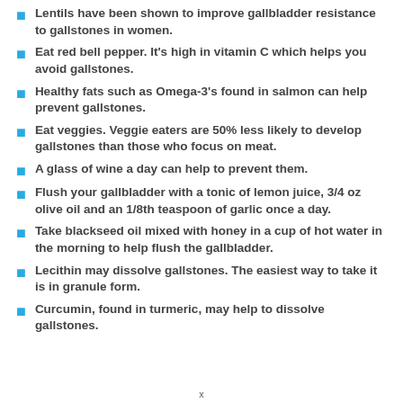Lentils have been shown to improve gallbladder resistance to gallstones in women.
Eat red bell pepper. It's high in vitamin C which helps you avoid gallstones.
Healthy fats such as Omega-3's found in salmon can help prevent gallstones.
Eat veggies. Veggie eaters are 50% less likely to develop gallstones than those who focus on meat.
A glass of wine a day can help to prevent them.
Flush your gallbladder with a tonic of lemon juice, 3/4 oz olive oil and an 1/8th teaspoon of garlic once a day.
Take blackseed oil mixed with honey in a cup of hot water in the morning to help flush the gallbladder.
Lecithin may dissolve gallstones. The easiest way to take it is in granule form.
Curcumin, found in turmeric, may help to dissolve gallstones.
x